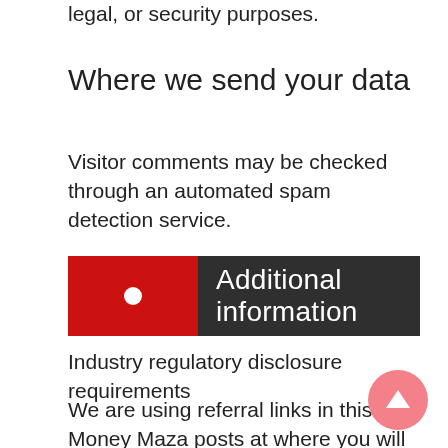legal, or security purposes.
Where we send your data
Visitor comments may be checked through an automated spam detection service.
Additional information
Industry regulatory disclosure requirements
We are using referral links in this Money Maza posts at where you will get the appropriate links to that services without